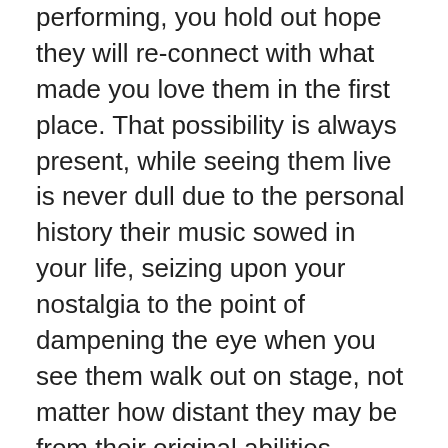performing, you hold out hope they will re-connect with what made you love them in the first place. That possibility is always present, while seeing them live is never dull due to the personal history their music sowed in your life, seizing upon your nostalgia to the point of dampening the eye when you see them walk out on stage, not matter how distant they may be from their original abilities.
Perhaps Charlie got a bad prognosis, and was feeling a little fatalistic when he wrote his farewell. Obviously he still can write songs, and many of today's artists would be proud to do the singing for him. Maybe this adversity will give Charlie Robison the excuse to refocus on songwriting specifically. Look what happened with John Prine. We didn't know if he would even survive the Cancer that wrecked his voice in the late 90's. Now at 71 years